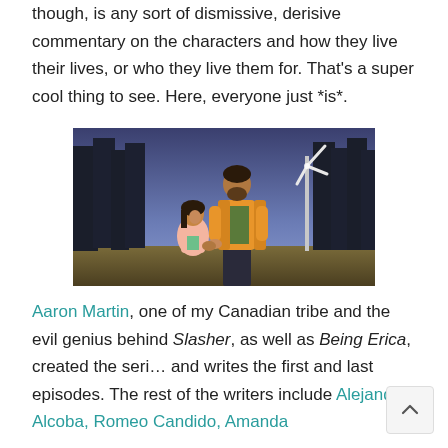though, is any sort of dismissive, derisive commentary on the characters and how they live their lives, or who they live them for. That's a super cool thing to see. Here, everyone just *is*.
[Figure (photo): A young girl and a bearded man in an orange hoodie standing outdoors at dusk near a wind turbine, looking at each other.]
Aaron Martin, one of my Canadian tribe and the evil genius behind Slasher, as well as Being Erica, created the series and writes the first and last episodes. The rest of the writers include Alejandro Alcoba, Romeo Candido, Amanda...